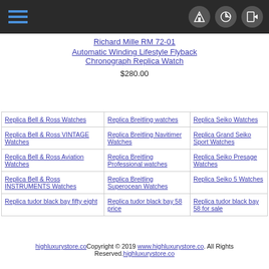Navigation header with hamburger menu and icons
Richard Mille RM 72-01
Automatic Winding Lifestyle Flyback Chronograph Replica Watch
$280.00
| Column1 | Column2 | Column3 |
| --- | --- | --- |
| Replica Bell & Ross Watches | Replica Breitling watches | Replica Seiko Watches |
| Replica Bell & Ross VINTAGE Watches | Replica Breitling Navitimer Watches | Replica Grand Seiko Sport Watches |
| Replica Bell & Ross Aviation Watches | Replica Breitling Professional watches | Replica Seiko Presage Watches |
| Replica Bell & Ross INSTRUMENTS Watches | Replica Breitling Superocean Watches | Replica Seiko 5 Watches |
| Replica tudor black bay fifty eight | Replica tudor black bay 58 price | Replica tudor black bay 58 for sale |
highluxurystore.co Copyright © 2019 www.highluxurystore.co. All Rights Reserved. highluxurystore.co